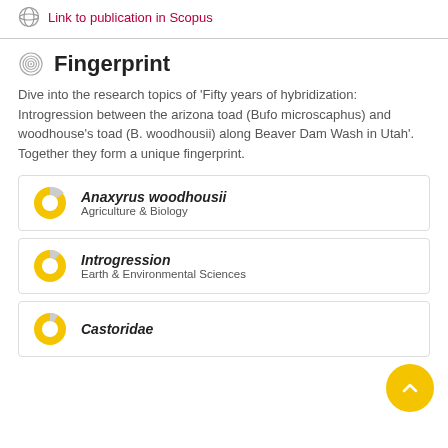Link to publication in Scopus
Fingerprint
Dive into the research topics of 'Fifty years of hybridization: Introgression between the arizona toad (Bufo microscaphus) and woodhouse's toad (B. woodhousii) along Beaver Dam Wash in Utah'. Together they form a unique fingerprint.
Anaxyrus woodhousii — Agriculture & Biology
Introgression — Earth & Environmental Sciences
Castoridae